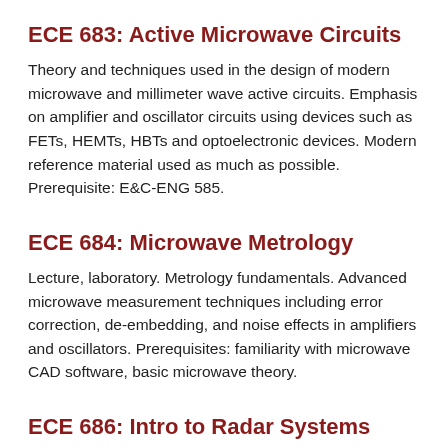ECE 683: Active Microwave Circuits
Theory and techniques used in the design of modern microwave and millimeter wave active circuits. Emphasis on amplifier and oscillator circuits using devices such as FETs, HEMTs, HBTs and optoelectronic devices. Modern reference material used as much as possible. Prerequisite: E&C-ENG 585.
ECE 684: Microwave Metrology
Lecture, laboratory. Metrology fundamentals. Advanced microwave measurement techniques including error correction, de-embedding, and noise effects in amplifiers and oscillators. Prerequisites: familiarity with microwave CAD software, basic microwave theory.
ECE 686: Intro to Radar Systems